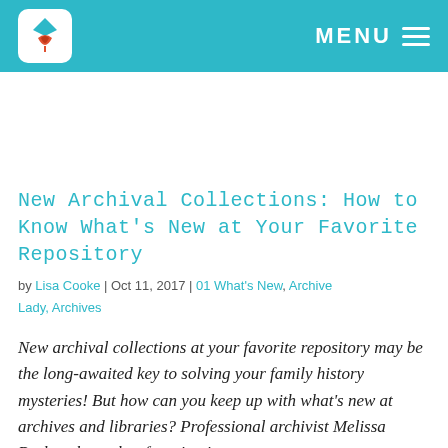MENU
[Figure (logo): Blue and white logo with a diamond/gem shape above a leaf or tulip motif, inside a white rounded square on a teal header bar]
New Archival Collections: How to Know What's New at Your Favorite Repository
by Lisa Cooke | Oct 11, 2017 | 01 What's New, Archive Lady, Archives
New archival collections at your favorite repository may be the long-awaited key to solving your family history mysteries! But how can you keep up with what's new at archives and libraries? Professional archivist Melissa Barker shares her favorite tips